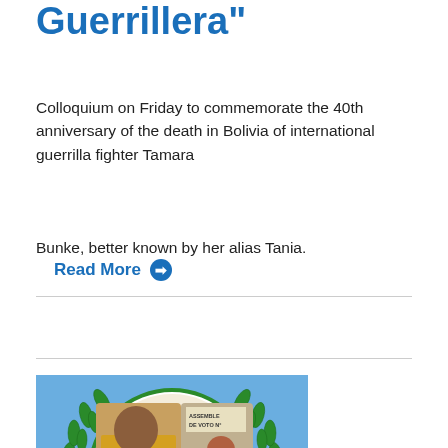Guerrillera"
Colloquium on Friday to commemorate the 40th anniversary of the death in Bolivia of international guerrilla fighter Tamara Bunke, better known by her alias Tania.
Read More ➡
[Figure (illustration): A blue background circular emblem resembling a UN-style laurel wreath logo in green, with a collage of photographic images inside the circle including a man reading, a woman in traditional Bolivian dress with a bowler hat, and a Human Rights document, with a sign reading 'ASSEMBLE DE VOTO N°' in the background.]